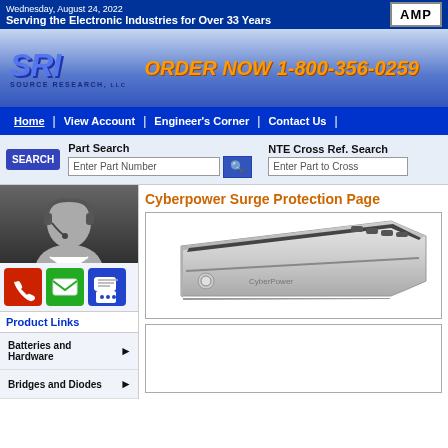Wednesday, August 24, 2022 | Serving the Electronic Industries for Over 33 Years | AMP
[Figure (logo): SRI Source Research LLC logo with blue stylized letters]
ORDER NOW 1-800-356-0259
Home | View Account | Engineer's Corner | Contact Us
SEARCH | Part Search | Enter Part Number | NTE Cross Ref. Search | Enter Part to Cross
Cyberpower Surge Protection Page
[Figure (photo): Live Help Offline - person with headset]
[Figure (other): Phone, email, and chat icon buttons]
Product Links
Batteries and Hardware
Bridges and Diodes
[Figure (photo): Cyberpower surge protector product image - silver/grey power strip device]